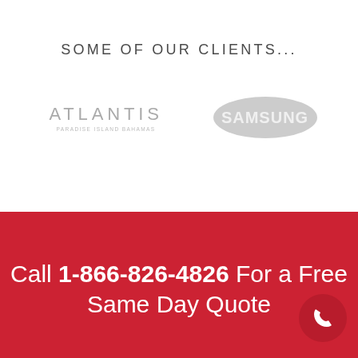SOME OF OUR CLIENTS...
[Figure (logo): Atlantis Paradise Island Bahamas logo in light gray]
[Figure (logo): Samsung logo in light gray oval]
Call 1-866-826-4826 For a Free Same Day Quote